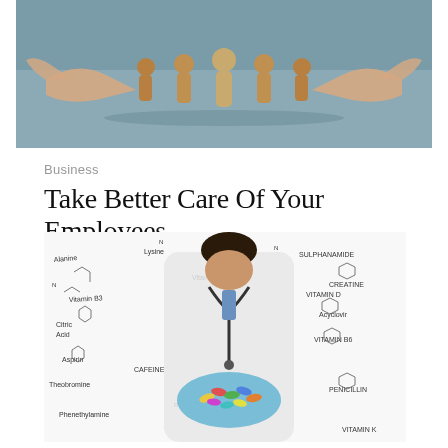[Figure (photo): Hands arranging wooden human-shaped figures on a teal/grey surface]
Business
Take Better Care Of Your Employees
[Figure (photo): Doctor in white coat wearing blue gloves holding a handful of colorful pills/capsules, background covered in handwritten chemical formulas including Vitamin B3, Citric Acid, Aspirin, Caffeine, Vitamin C, Theobromine, Phenethylamine, Lysine, Sulphanamide, Vitamin D, Creatine, Acyclovir, Vitamin B6, Penicillin, Vitamin K, Vitamin B2]